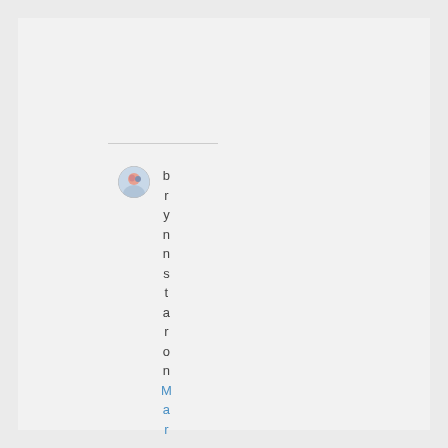[Figure (photo): Small circular avatar photo of a person]
brynnstaron
Ma...